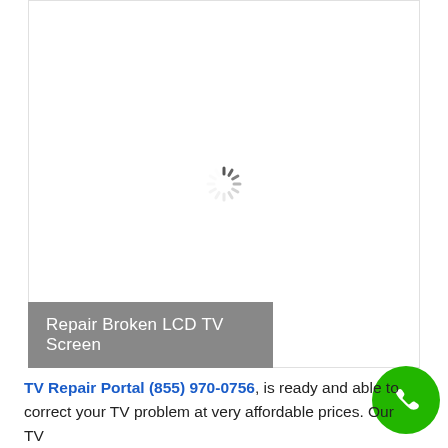[Figure (other): Loading spinner (circular progress indicator) centered in a white image placeholder area with a light border]
Repair Broken LCD TV Screen
TV Repair Portal (855) 970-0756, is ready and able to correct your TV problem at very affordable prices. Our TV